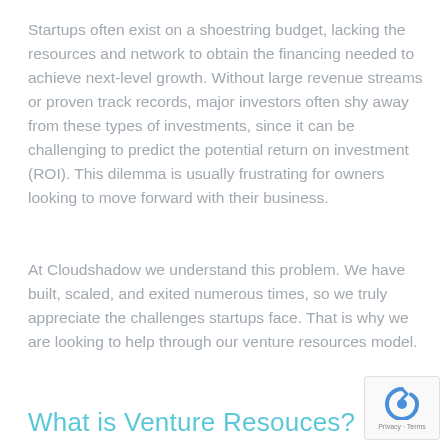Startups often exist on a shoestring budget, lacking the resources and network to obtain the financing needed to achieve next-level growth. Without large revenue streams or proven track records, major investors often shy away from these types of investments, since it can be challenging to predict the potential return on investment (ROI). This dilemma is usually frustrating for owners looking to move forward with their business.
At Cloudshadow we understand this problem. We have built, scaled, and exited numerous times, so we truly appreciate the challenges startups face. That is why we are looking to help through our venture resources model.
What is Venture Resouces?